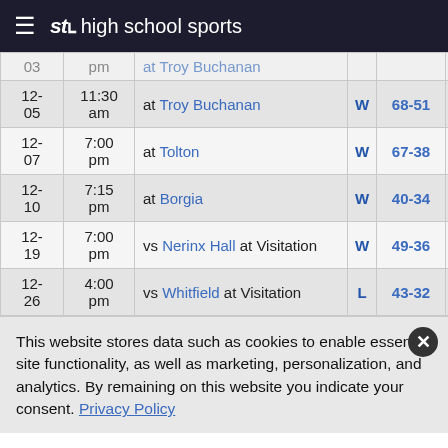STL high school sports
| Date | Time | Opponent | W/L | Score | Record | T |
| --- | --- | --- | --- | --- | --- | --- |
| 03 | pm | at Troy Buchanan (truncated) | W | 68-51 | 3-0 (cut) | T (cut) |
| 12-05 | 11:30 am | at Troy Buchanan | W | 68-51 | 3-0 | T |
| 12-07 | 7:00 pm | at Tolton | W | 67-38 | 4-0 | L |
| 12-10 | 7:15 pm | at Borgia | W | 40-34 | 5-0 | L |
| 12-19 | 7:00 pm | vs Nerinx Hall at Visitation | W | 49-36 | 6-0 | T |
| 12-26 | 4:00 pm | vs Whitfield at Visitation | L | 43-32 | 6-1 | T |
This website stores data such as cookies to enable essential site functionality, as well as marketing, personalization, and analytics. By remaining on this website you indicate your consent. Privacy Policy